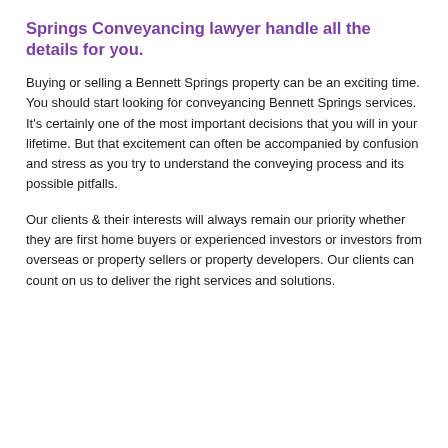Springs Conveyancing lawyer handle all the details for you.
Buying or selling a Bennett Springs property can be an exciting time. You should start looking for conveyancing Bennett Springs services. It's certainly one of the most important decisions that you will in your lifetime. But that excitement can often be accompanied by confusion and stress as you try to understand the conveying process and its possible pitfalls.
Our clients & their interests will always remain our priority whether they are first home buyers or experienced investors or investors from overseas or property sellers or property developers. Our clients can count on us to deliver the right services and solutions.